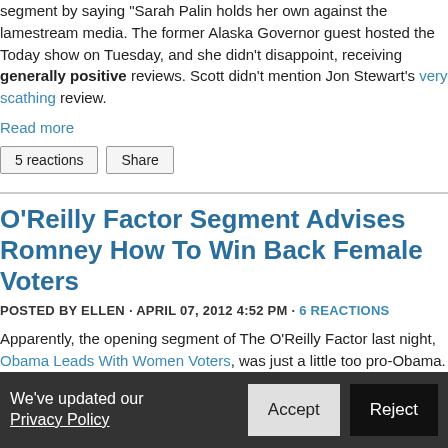segment by saying "Sarah Palin holds her own against the lamestream media. The former Alaska Governor guest hosted the Today show on Tuesday, and she didn't disappoint, receiving generally positive reviews. Scott didn't mention Jon Stewart's very scathing review.
Read more
5 reactions   Share
O'Reilly Factor Segment Advises Romney How To Win Back Female Voters
POSTED BY ELLEN · APRIL 07, 2012 4:52 PM · 6 REACTIONS
Apparently, the opening segment of The O'Reilly Factor last night, Obama Leads With Women Voters, was just a little too pro-Obama. Because in the second segment, guest host Juan Williams asked both his guests – Democrat Leslie Marshall and conservative talk show host Janine Turner
We've updated our Privacy Policy   Accept   Reject